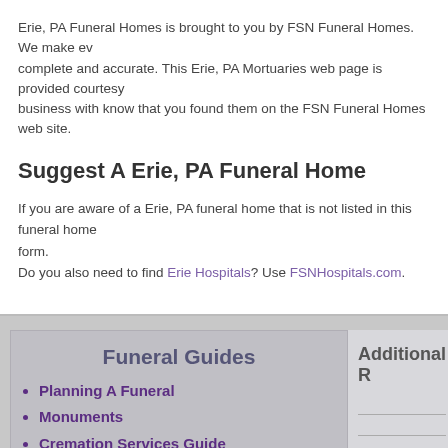Erie, PA Funeral Homes is brought to you by FSN Funeral Homes. We make every effort to keep this information complete and accurate. This Erie, PA Mortuaries web page is provided courtesy of FSN. Please let every business with know that you found them on the FSN Funeral Homes web site.
Suggest A Erie, PA Funeral Home
If you are aware of a Erie, PA funeral home that is not listed in this funeral home directory, please use this form.
Do you also need to find Erie Hospitals? Use FSNHospitals.com.
Funeral Guides
Planning A Funeral
Monuments
Cremation Services Guide
Estate Planning
Grief Support Resources
Funeral Flower Planning
Funeral Etiquette
Additional R